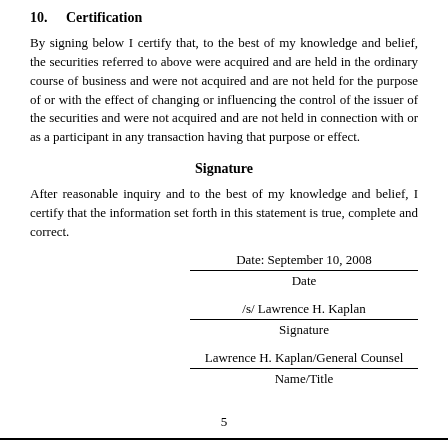10.   Certification
By signing below I certify that, to the best of my knowledge and belief, the securities referred to above were acquired and are held in the ordinary course of business and were not acquired and are not held for the purpose of or with the effect of changing or influencing the control of the issuer of the securities and were not acquired and are not held in connection with or as a participant in any transaction having that purpose or effect.
Signature
After reasonable inquiry and to the best of my knowledge and belief, I certify that the information set forth in this statement is true, complete and correct.
Date: September 10, 2008
Date
/s/ Lawrence H. Kaplan
Signature
Lawrence H. Kaplan/General Counsel
Name/Title
5